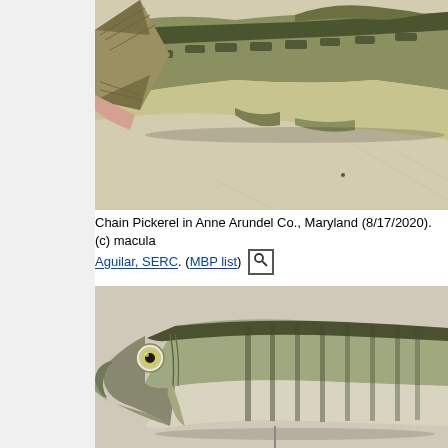[Figure (photo): Close-up photo of a Chain Pickerel fish tail and body section, showing greenish coloring with chain-like pattern markings, lying on a white surface with ruler markings visible]
Chain Pickerel in Anne Arundel Co., Maryland (8/17/2020). (c) macula Aguilar, SERC. (MBP list)
[Figure (photo): Close-up photo of the head of a Chain Pickerel fish caught in Anne Arundel Co., Maryland, showing prominent eye and long pointed snout with vertical stripe pattern along body]
A Chain Pickerel caught in Anne Arundel Co., Maryland (8/18/2014). SERC. (MBP list)